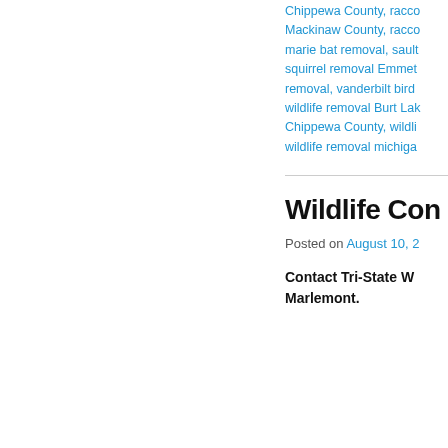Chippewa County, racco Mackinaw County, racco marie bat removal, sault squirrel removal Emmet removal, vanderbilt bird wildlife removal Burt Lak Chippewa County, wildli wildlife removal michiga
Wildlife Con
Posted on August 10, 2
Contact Tri-State W Marlemont.